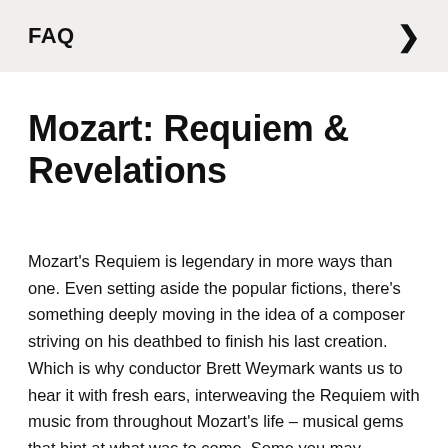FAQ
Mozart: Requiem & Revelations
Mozart's Requiem is legendary in more ways than one. Even setting aside the popular fictions, there's something deeply moving in the idea of a composer striving on his deathbed to finish his last creation. Which is why conductor Brett Weymark wants us to hear it with fresh ears, interweaving the Requiem with music from throughout Mozart's life – musical gems that hint at what was to come. Some you may recognise, some oddly familiar, others will sound intriguingly new. Together they amplify the beauty